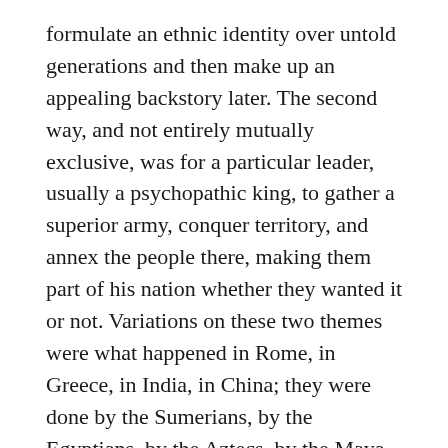formulate an ethnic identity over untold generations and then make up an appealing backstory later. The second way, and not entirely mutually exclusive, was for a particular leader, usually a psychopathic king, to gather a superior army, conquer territory, and annex the people there, making them part of his nation whether they wanted it or not. Variations on these two themes were what happened in Rome, in Greece, in India, in China; they were done by the Sumerians, by the Egyptians, by the Aztecs, by the Maya. All the ancient civilizations have founding myths that are distorted so far from the real history that the real history has become basically unknowable. All the more recent powers were